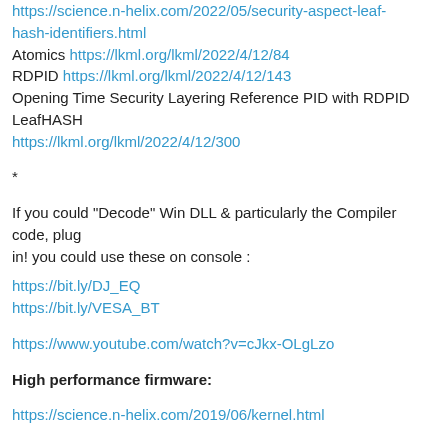https://science.n-helix.com/2022/05/security-aspect-leaf-hash-identifiers.html
Atomics https://lkml.org/lkml/2022/4/12/84
RDPID https://lkml.org/lkml/2022/4/12/143
Opening Time Security Layering Reference PID with RDPID LeafHASH
https://lkml.org/lkml/2022/4/12/300
*
If you could "Decode" Win DLL & particularly the Compiler code, plug
in! you could use these on console :
https://bit.ly/DJ_EQ
https://bit.ly/VESA_BT
https://www.youtube.com/watch?v=cJkx-OLgLzo
High performance firmware:
https://science.n-helix.com/2019/06/kernel.html